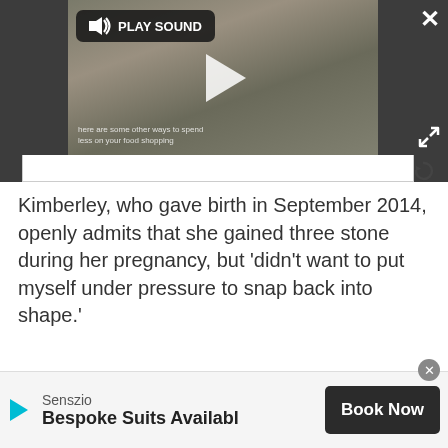[Figure (screenshot): Video player overlay on a dark gray background showing two people at a counter with a dog, with a play button in the center, a 'PLAY SOUND' button in top-left of video, a close X button top-right, and expand icon bottom-right. Subtitle text reads 'here are some other ways to spend less on your food shopping']
Kimberley, who gave birth in September 2014, openly admits that she gained three stone during her pregnancy, but 'didn't want to put myself under pressure to snap back into shape.'
[Figure (screenshot): Advertisement banner at bottom: Senszio brand with play icon, text 'Bespoke Suits Available' and a 'Book Now' dark button on the right. A close circle button appears at top-right of the ad.]